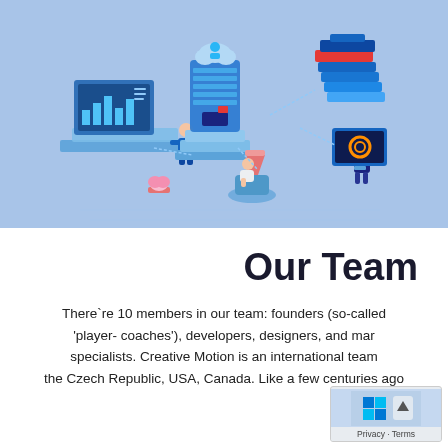[Figure (illustration): Isometric illustration of a team working in a tech/cloud environment. Shows figures working at computers, a large server/building structure, data storage units, a monitor with analytics, connected by network lines on a blue background.]
Our Team
There`re 10 members in our team: founders (so-called 'player- coaches'), developers, designers, and mar specialists. Creative Motion is an international team the Czech Republic, USA, Canada. Like a few centuries ago